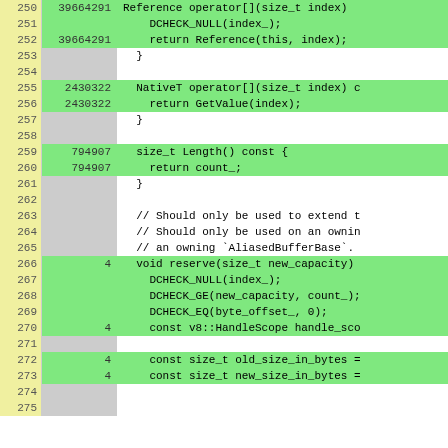[Figure (screenshot): Code coverage viewer showing C++ source lines 250-275 with line numbers, execution counts, and highlighted source code. Green highlighting indicates executed lines. Columns: line number (yellow background), execution count (gray background), source code.]